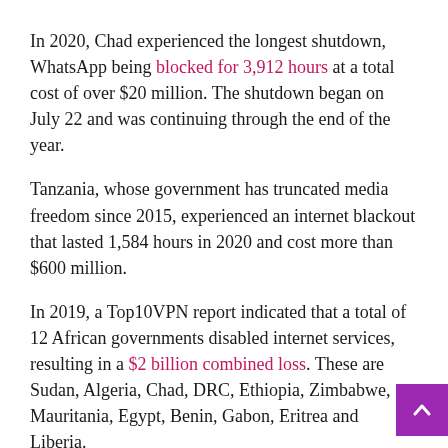In 2020, Chad experienced the longest shutdown, WhatsApp being blocked for 3,912 hours at a total cost of over $20 million. The shutdown began on July 22 and was continuing through the end of the year.
Tanzania, whose government has truncated media freedom since 2015, experienced an internet blackout that lasted 1,584 hours in 2020 and cost more than $600 million.
In 2019, a Top10VPN report indicated that a total of 12 African governments disabled internet services, resulting in a $2 billion combined loss. These are Sudan, Algeria, Chad, DRC, Ethiopia, Zimbabwe, Mauritania, Egypt, Benin, Gabon, Eritrea and Liberia.
Zimbabwe, Togo, Burundi, Chad, Mali and Guinea also restricted access to the internet or social media apps in 2020.
In 2019, there were 25 documented cases of partial or full internet shutdowns, compared to 20 in 2018 and 12 in 2017.